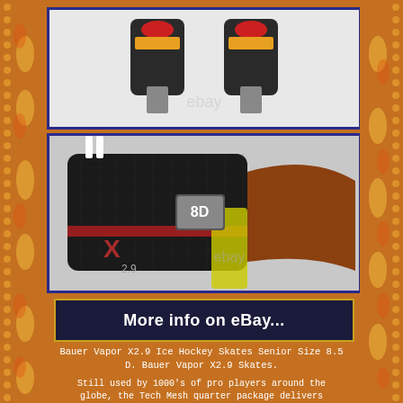[Figure (photo): Top-down view of Bauer Vapor X2.9 ice hockey skates pair on white background with eBay watermark]
[Figure (photo): Close-up side view of Bauer Vapor X2.9 ice hockey skate showing size 8D label, carbon fiber texture, red and yellow accents, with eBay watermark]
[Figure (photo): eBay listing banner reading 'More info on eBay...' with dark background and yellow border]
Bauer Vapor X2.9 Ice Hockey Skates Senior Size 8.5 D. Bauer Vapor X2.9 Skates.
Still used by 1000's of pro players around the globe, the Tech Mesh quarter package delivers